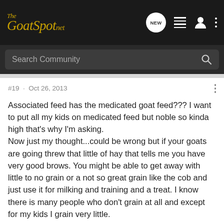[Figure (logo): The GoatSpot.net logo in gold italic text on dark background with navigation icons: NEW chat bubble, list icon, user icon, and three-dots menu]
Search Community
#19 · Oct 26, 2013
Associated feed has the medicated goat feed??? I want to put all my kids on medicated feed but noble so kinda high that's why I'm asking.
Now just my thought...could be wrong but if your goats are going threw that little of hay that tells me you have very good brows. You might be able to get away with little to no grain or a not so great grain like the cob and just use it for milking and training and a treat. I know there is many people who don't grain at all and except for my kids I grain very little.